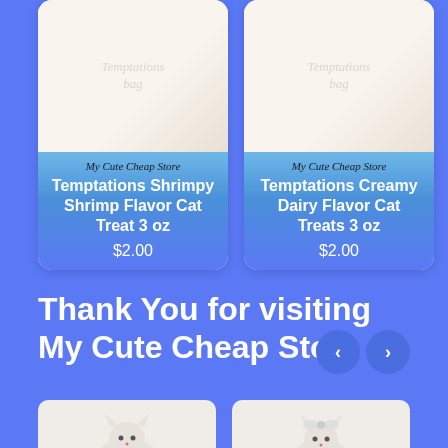[Figure (screenshot): Product card for Temptations Shrimpy Shrimp Flavor Cat Treat 3 oz with faded product image, store name 'My Cute Cheap Store', and price $2.00 on blue gradient background]
[Figure (screenshot): Product card for Temptations Creamy Dairy Flavor Cat Treats 3 oz with faded product image, store name 'My Cute Cheap Store', and price $2.00 on blue gradient background]
Thank You for visiting My Cute Cheap Store
[Figure (photo): Photo of a decorative white cat figurine with rhinestones]
[Figure (photo): Photo of a decorative cat figurine with bow and rhinestones]